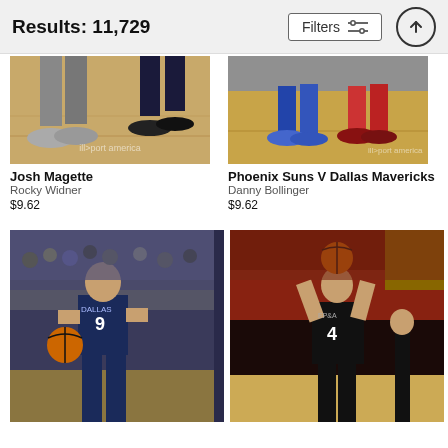Results: 11,729
Josh Magette
Rocky Widner
$9.62
Phoenix Suns V Dallas Mavericks
Danny Bollinger
$9.62
[Figure (photo): Basketball player (Josh Magette) on court, legs and feet visible, cropped top portion]
[Figure (photo): Basketball game scene (Phoenix Suns V Dallas Mavericks), players on court, legs and feet visible, cropped top portion]
[Figure (photo): Dallas Mavericks player number 9 dribbling basketball in arena with crowd]
[Figure (photo): San Antonio Spurs player number 4 shooting basketball in arena with crowd]